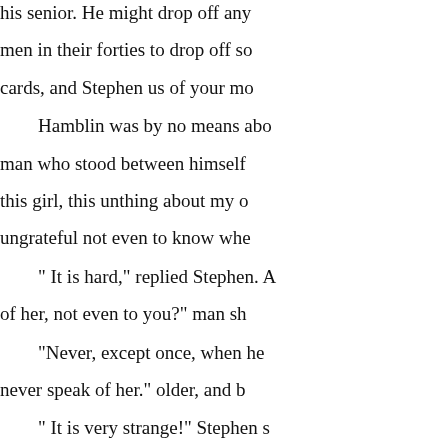his senior. He might drop off any men in their forties to drop off so cards, and Stephen us of your mo

Hamblin was by no means abo man who stood between himself this girl, this unthing about my o ungrateful not even to know whe

" It is hard," replied Stephen. A of her, not even to you?" man sh

"Never, except once, when he never speak of her." older, and b

" It is very strange!" Stephen s cigar. "Tell me your earliest rec- see if something can if it had not

the heir. Yet he might have know which could have got at the Brig good as his came to see me exce Duncombe did not tell me anythi he accepted Anthony's statement his wife was dead: no "Why did

use asking any more questions. T with him always. Yes, he said th